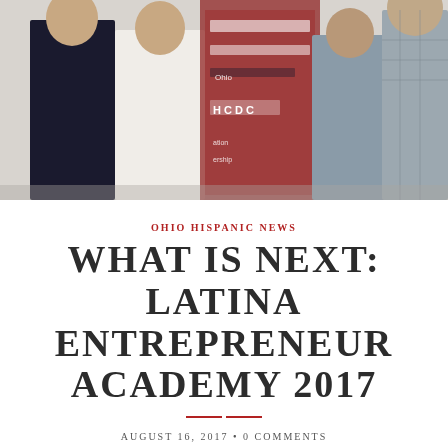[Figure (photo): Group photo of four people standing in front of a banner backdrop with logos including HCDC, Ohio SBDC, and Hispanic Chamber. Two women on the left wearing black and white dresses, two people on the right in gray and plaid outfits.]
OHIO HISPANIC NEWS
WHAT IS NEXT: LATINA ENTREPRENEUR ACADEMY 2017
AUGUST 16, 2017 • 0 COMMENTS • BY LORENA MORA-MOWRY
What Is Next / ¿Qué es lo siguiente?: Latina Entrepreneur Academy 2017 – Karla Boldery LULAC Cincinnati y Alfonso Cornejo…